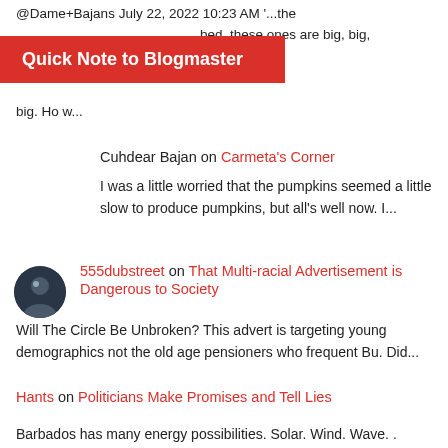@Dame+Bajans July 22, 2022 10:23 AM '...the
bed. these ones are big, big,
Quick Note to Blogmaster
big. Ho w...
Cuhdear Bajan on Carmeta's Corner
I was a little worried that the pumpkins seemed a little slow to produce pumpkins, but all's well now. I...
555dubstreet on That Multi-racial Advertisement is Dangerous to Society
Will The Circle Be Unbroken? This advert is targeting young demographics not the old age pensioners who frequent Bu. Did...
Hants on Politicians Make Promises and Tell Lies
Barbados has many energy possibilities. Solar. Wind. Wave. . Desalination is still possible to solve the